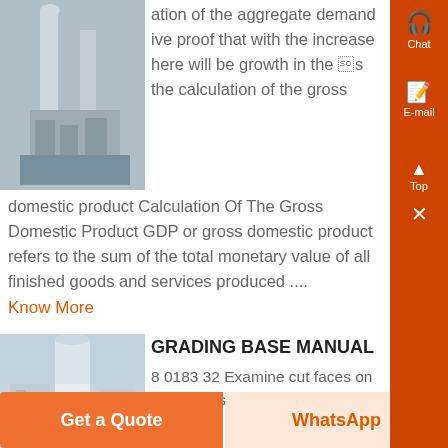[Figure (photo): Industrial factory/plant equipment photo (partially visible, cropped left)]
ation of the aggregate demand ive proof that with the increase here will be growth in the s the calculation of the gross domestic product Calculation Of The Gross Domestic Product GDP or gross domestic product refers to the sum of the total monetary value of all finished goods and services produced ....
Know More
[Figure (photo): Concrete batching plant or silo facility photo (partially visible, cropped left)]
GRADING BASE MANUAL
8 0183 32 Examine cut faces on ojects for soil type information